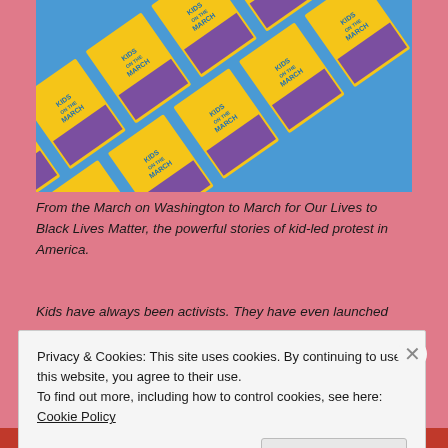[Figure (photo): Repeating tiled pattern of 'Kids on the March' book covers arranged diagonally, featuring blue and yellow covers with children figures]
From the March on Washington to March for Our Lives to Black Lives Matter, the powerful stories of kid-led protest in America.
Kids have always been activists. They have even launched
Privacy & Cookies: This site uses cookies. By continuing to use this website, you agree to their use.
To find out more, including how to control cookies, see here: Cookie Policy